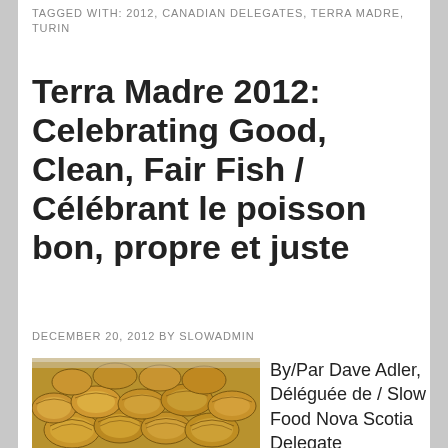TAGGED WITH: 2012, CANADIAN DELEGATES, TERRA MADRE, TURIN
Terra Madre 2012: Celebrating Good, Clean, Fair Fish / Célébrant le poisson bon, propre et juste
DECEMBER 20, 2012 BY SLOWADMIN
[Figure (photo): A pile of clams/cockles in golden-brown shells arranged in a tray, photographed close up.]
By/Par Dave Adler, Déléguée de / Slow Food Nova Scotia Delegate